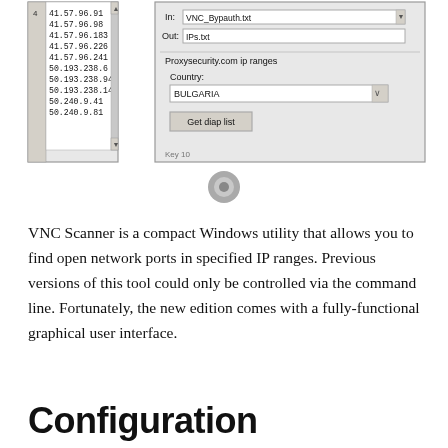[Figure (screenshot): Screenshot of VNC Scanner application window showing a list of IP addresses (41.57.96.91, 41.57.96.98, 41.57.96.183, 41.57.96.226, 41.57.96.241, 50.193.238.6, 50.193.238.94, 50.193.238.141, 50.240.9.41, 50.240.9.81) on the left panel, and on the right a configuration panel with In/Out file fields (VNC_Bypauth.txt, IPs.txt), Proxysecurity.com ip ranges section, Country dropdown set to BULGARIA, and a 'Get diap list' button.]
VNC Scanner is a compact Windows utility that allows you to find open network ports in specified IP ranges. Previous versions of this tool could only be controlled via the command line. Fortunately, the new edition comes with a fully-functional graphical user interface.
Configuration